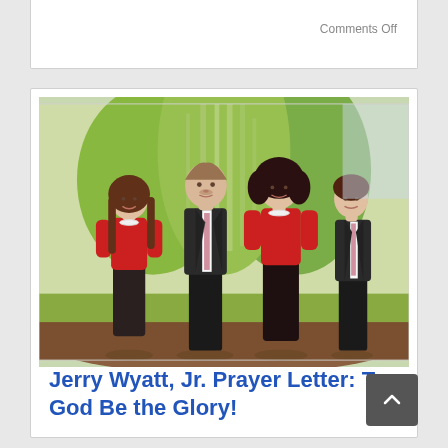Comments Off
[Figure (photo): Family photo of Jerry Wyatt Jr. family: four people standing outdoors in front of tall ornamental grasses. Two adults and two children. Women and girl wearing red dresses, men in dark suits with pink ties.]
Jerry Wyatt, Jr. Prayer Letter: To God Be the Glory!